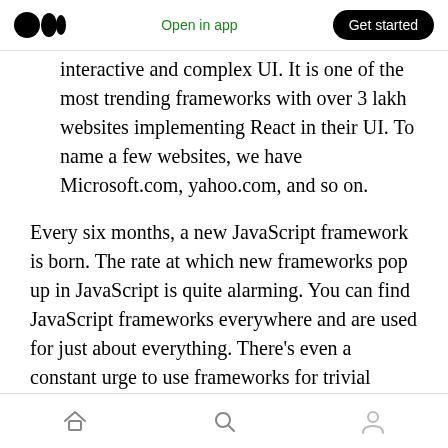Medium logo | Open in app | Get started
interactive and complex UI. It is one of the most trending frameworks with over 3 lakh websites implementing React in their UI. To name a few websites, we have Microsoft.com, yahoo.com, and so on.
Every six months, a new JavaScript framework is born. The rate at which new frameworks pop up in JavaScript is quite alarming. You can find JavaScript frameworks everywhere and are used for just about everything. There’s even a constant urge to use frameworks for trivial things like printing “Hello World”
Home | Search | Profile